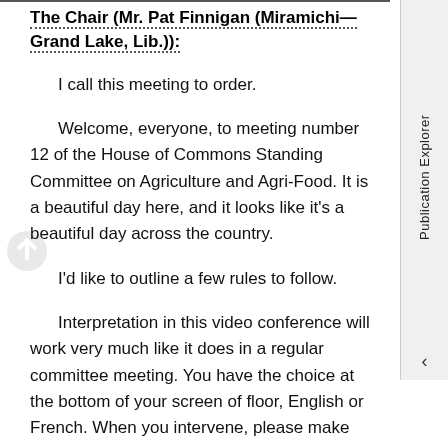The Chair (Mr. Pat Finnigan (Miramichi—Grand Lake, Lib.)):
I call this meeting to order.
Welcome, everyone, to meeting number 12 of the House of Commons Standing Committee on Agriculture and Agri-Food. It is a beautiful day here, and it looks like it's a beautiful day across the country.
I'd like to outline a few rules to follow.
Interpretation in this video conference will work very much like it does in a regular committee meeting. You have the choice at the bottom of your screen of floor, English or French. When you intervene, please make sure that your language channel is set to the language that you